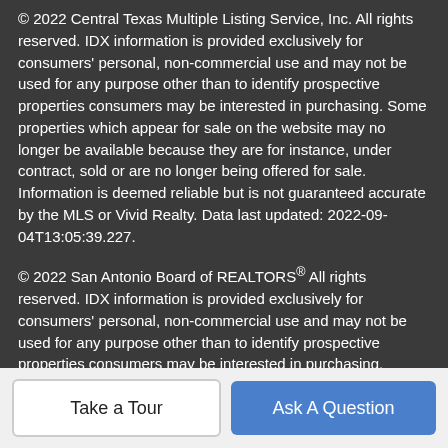© 2022 Central Texas Multiple Listing Service, Inc. All rights reserved. IDX information is provided exclusively for consumers' personal, non-commercial use and may not be used for any purpose other than to identify prospective properties consumers may be interested in purchasing. Some properties which appear for sale on the website may no longer be available because they are for instance, under contract, sold or are no longer being offered for sale. Information is deemed reliable but is not guaranteed accurate by the MLS or Vivid Realty. Data last updated: 2022-09-04T13:05:39.227.
© 2022 San Antonio Board of REALTORS® All rights reserved. IDX information is provided exclusively for consumers' personal, non-commercial use and may not be used for any purpose other than to identify prospective properties consumers may be interested in purchasing. Information is deemed reliable but is not guaranteed accurate by the MLS or Vivid Realty. Last updated 2022-09-04T13:32:34.73.
Take a Tour
Ask A Question